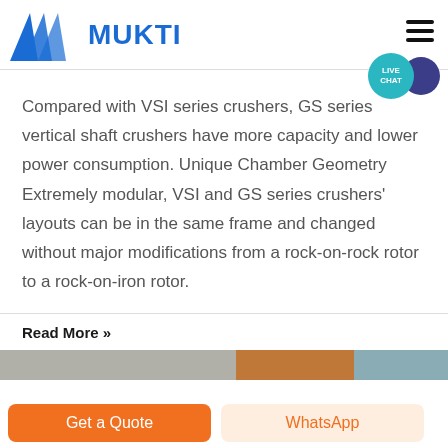[Figure (logo): Mukti company logo with blue M-shaped triangles and blue bold text MUKTI]
Compared with VSI series crushers, GS series vertical shaft crushers have more capacity and lower power consumption. Unique Chamber Geometry Extremely modular, VSI and GS series crushers' layouts can be in the same frame and changed without major modifications from a rock-on-rock rotor to a rock-on-iron rotor.
Read More »
[Figure (photo): Image strip showing machinery/equipment photos at the bottom]
Get a Quote
WhatsApp